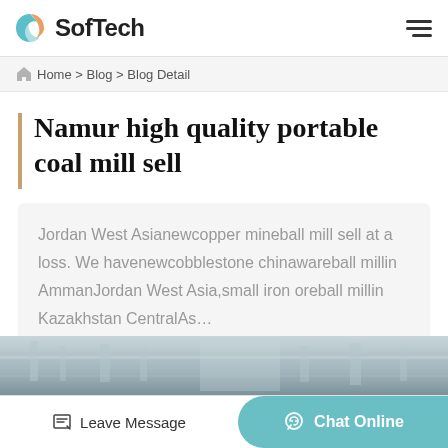[Figure (logo): SofTech logo with teal and orange circular swirl icon and bold SofTech text]
Home > Blog > Blog Detail
Namur high quality portable coal mill sell
Jordan West Asianewcopper mineball mill sell at a loss. We havenewcobblestone chinawareball millin AmmanJordan West Asia,small iron oreball millin Kazakhstan CentralAs…
[Figure (photo): Industrial facility photo strip at the bottom of the page]
Leave Message  Chat Online